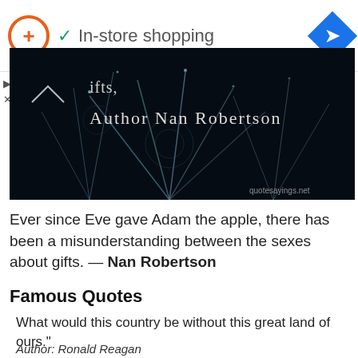[Figure (screenshot): App header bar with orange circle logo with plus sign, green checkmark, 'In-store shopping' text, and blue diamond navigation icon]
[Figure (photo): Dark fireworks photo with overlaid text showing 'gifts.' and 'Author Nan Robertson' in decorative font, with quotesayings.net watermark]
Ever since Eve gave Adam the apple, there has been a misunderstanding between the sexes about gifts. — Nan Robertson
Famous Quotes
What would this country be without this great land of ours."
Author: Ronald Reagan